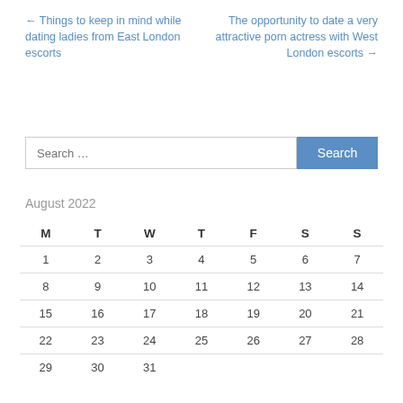← Things to keep in mind while dating ladies from East London escorts
The opportunity to date a very attractive porn actress with West London escorts →
[Figure (other): Search input field with Search button]
August 2022
| M | T | W | T | F | S | S |
| --- | --- | --- | --- | --- | --- | --- |
| 1 | 2 | 3 | 4 | 5 | 6 | 7 |
| 8 | 9 | 10 | 11 | 12 | 13 | 14 |
| 15 | 16 | 17 | 18 | 19 | 20 | 21 |
| 22 | 23 | 24 | 25 | 26 | 27 | 28 |
| 29 | 30 | 31 |  |  |  |  |